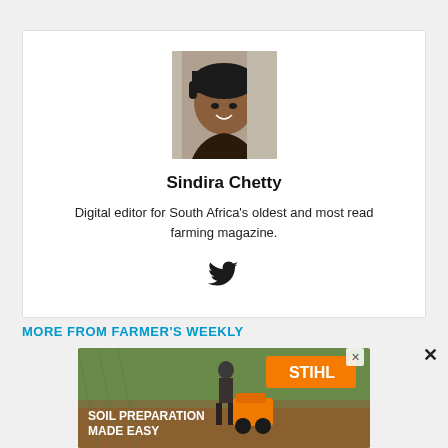[Figure (photo): Headshot photo of Sindira Chetty, a woman smiling, taken inside a car]
Sindira Chetty
Digital editor for South Africa's oldest and most read farming magazine.
[Figure (logo): Twitter bird icon]
MORE FROM FARMER'S WEEKLY
[Figure (photo): STIHL advertisement: Soil Preparation Made Easy, showing a person using a STIHL tiller outdoors]